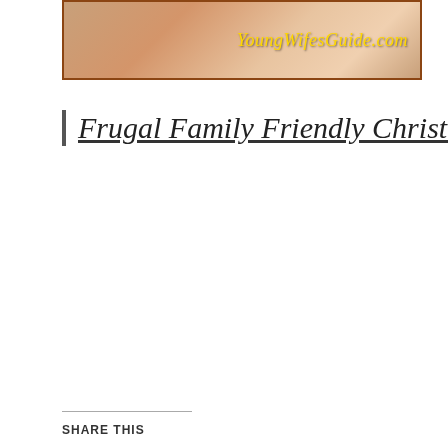[Figure (photo): Banner image for YoungWifesGuide.com website with warm brown/orange tones and cursive yellow text logo]
Frugal Family Friendly Christmas Activities
SHARE THIS